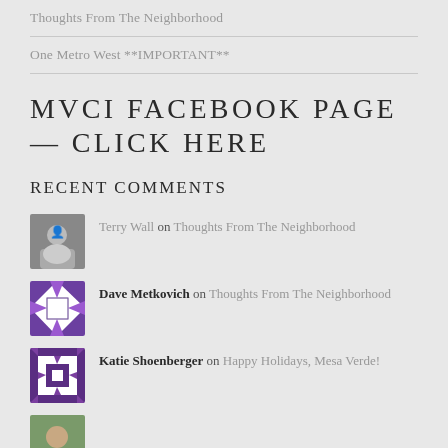Thoughts From The Neighborhood
One Metro West **IMPORTANT**
MVCI FACEBOOK PAGE — CLICK HERE
RECENT COMMENTS
Terry Wall on Thoughts From The Neighborhood
Dave Metkovich on Thoughts From The Neighborhood
Katie Shoenberger on Happy Holidays, Mesa Verde!